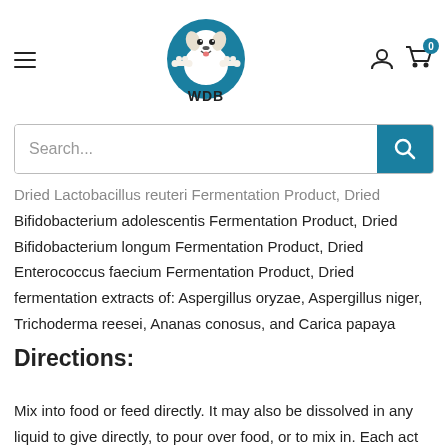[Figure (logo): WDB pet store logo — cartoon dog with bones on teal circular background, text 'WDB' below]
Dried Lactobacillus reuteri Fermentation Product, Dried Bifidobacterium adolescentis Fermentation Product, Dried Bifidobacterium longum Fermentation Product, Dried Enterococcus faecium Fermentation Product, Dried fermentation extracts of: Aspergillus oryzae, Aspergillus niger, Trichoderma reesei, Ananas conosus, and Carica papaya
Directions:
Mix into food or feed directly. It may also be dissolved in any liquid…